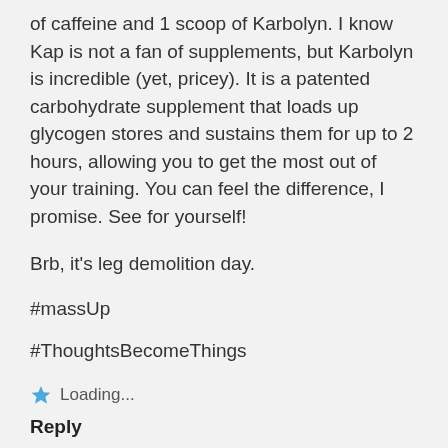of caffeine and 1 scoop of Karbolyn. I know Kap is not a fan of supplements, but Karbolyn is incredible (yet, pricey). It is a patented carbohydrate supplement that loads up glycogen stores and sustains them for up to 2 hours, allowing you to get the most out of your training. You can feel the difference, I promise. See for yourself!
Brb, it's leg demolition day.
#massUp
#ThoughtsBecomeThings
Loading...
Reply